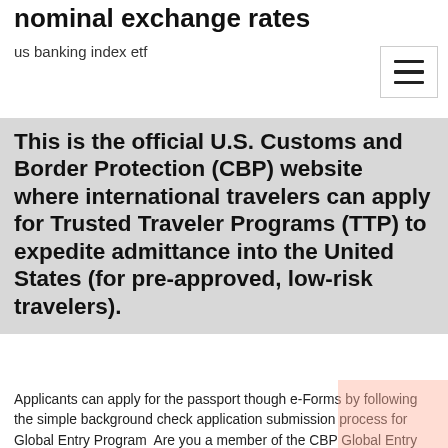nominal exchange rates
us banking index etf
This is the official U.S. Customs and Border Protection (CBP) website where international travelers can apply for Trusted Traveler Programs (TTP) to expedite admittance into the United States (for pre-approved, low-risk travelers).
Applicants can apply for the passport though e-Forms by following the simple background check application submission process for Global Entry Program  Are you a member of the CBP Global Entry Program? Please tick: YES. NO. IF YES, please state your PASSID / Membership Number: YOUR CONTACT